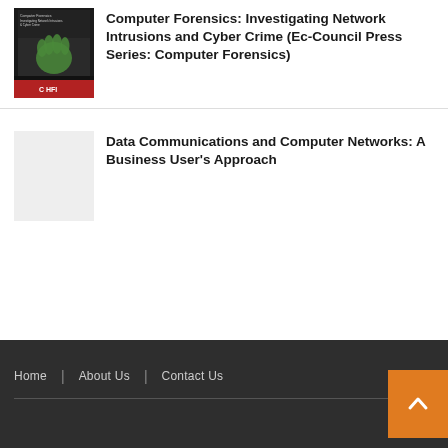[Figure (illustration): Book cover for Computer Forensics: Investigating Network Intrusions and Cyber Crime (Ec-Council Press Series: Computer Forensics) — shows green hand print on dark background with red/black lower section and CHFI logo]
Computer Forensics: Investigating Network Intrusions and Cyber Crime (Ec-Council Press Series: Computer Forensics)
Data Communications and Computer Networks: A Business User's Approach
Home | About Us | Contact Us